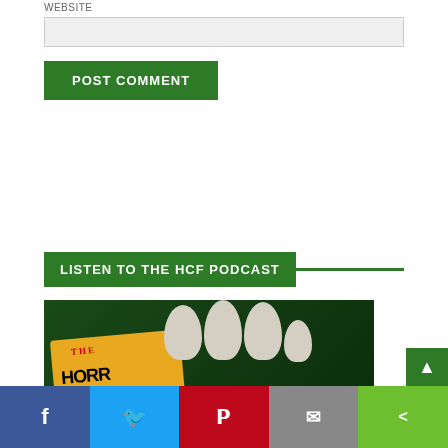Website
[Figure (screenshot): Website input text field (light grey background form input)]
[Figure (screenshot): POST COMMENT green button]
LISTEN TO THE HCF PODCAST
[Figure (photo): Horror Cult Films podcast logo: zombie hand holding yellow movie ticket on dark green background]
[Figure (screenshot): Social sharing bar at bottom with Facebook, Twitter, Pinterest, Email, and Share buttons]